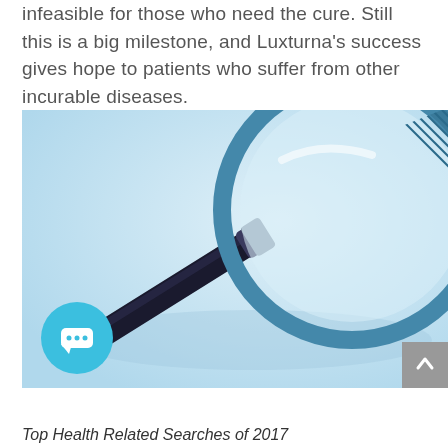infeasible for those who need the cure. Still this is a big milestone, and Luxturna's success gives hope to patients who suffer from other incurable diseases.
[Figure (photo): Close-up photo of a magnifying glass on a light blue background, with the lens and handle in sharp/blurred focus. A circular teal chat bubble icon with three dots is overlaid bottom-left, and a grey scroll-up button is at bottom-right.]
Top Health Related Searches of 2017